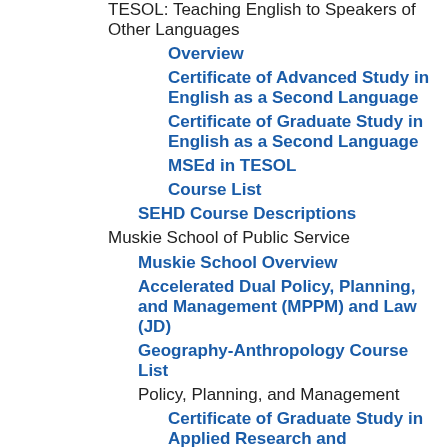TESOL: Teaching English to Speakers of Other Languages
Overview
Certificate of Advanced Study in English as a Second Language
Certificate of Graduate Study in English as a Second Language
MSEd in TESOL
Course List
SEHD Course Descriptions
Muskie School of Public Service
Muskie School Overview
Accelerated Dual Policy, Planning, and Management (MPPM) and Law (JD)
Geography-Anthropology Course List
Policy, Planning, and Management
Certificate of Graduate Study in Applied Research and Evaluation Methods